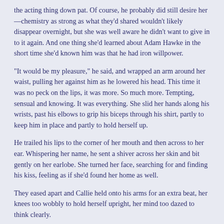the acting thing down pat. Of course, he probably did still desire her—chemistry as strong as what they'd shared wouldn't likely disappear overnight, but she was well aware he didn't want to give in to it again. And one thing she'd learned about Adam Hawke in the short time she'd known him was that he had iron willpower.
“It would be my pleasure,” he said, and wrapped an arm around her waist, pulling her against him as he lowered his head. This time it was no peck on the lips, it was more. So much more. Tempting, sensual and knowing. It was everything. She slid her hands along his wrists, past his elbows to grip his biceps through his shirt, partly to keep him in place and partly to hold herself up.
He trailed his lips to the corner of her mouth and then across to her ear. Whispering her name, he sent a shiver across her skin and bit gently on her earlobe. She turned her face, searching for and finding his kiss, feeling as if she’d found her home as well.
They eased apart and Callie held onto his arms for an extra beat, her knees too wobbly to hold herself upright, her mind too dazed to think clearly.